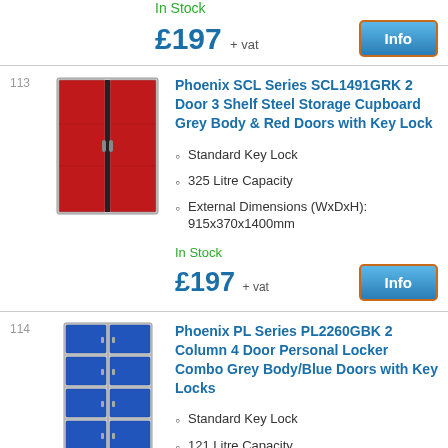In Stock
£197 + vat
Info
113
[Figure (photo): Grey and red 2-door steel storage cupboard]
Phoenix SCL Series SCL1491GRK 2 Door 3 Shelf Steel Storage Cupboard Grey Body & Red Doors with Key Lock
Standard Key Lock
325 Litre Capacity
External Dimensions (WxDxH): 915x370x1400mm
In Stock
£197 + vat
Info
114
[Figure (photo): Grey and blue 2-column 4-door personal locker]
Phoenix PL Series PL2260GBK 2 Column 4 Door Personal Locker Combo Grey Body/Blue Doors with Key Locks
Standard Key Lock
121 Litre Capacity
External Dimensions (WxDxH):